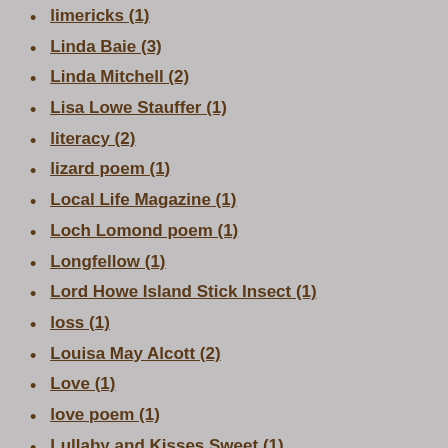limericks (1)
Linda Baie (3)
Linda Mitchell (2)
Lisa Lowe Stauffer (1)
literacy (2)
lizard poem (1)
Local Life Magazine (1)
Loch Lomond poem (1)
Longfellow (1)
Lord Howe Island Stick Insect (1)
loss (1)
Louisa May Alcott (2)
Love (1)
love poem (1)
Lullaby and Kisses Sweet (1)
Lunch Lady (1)